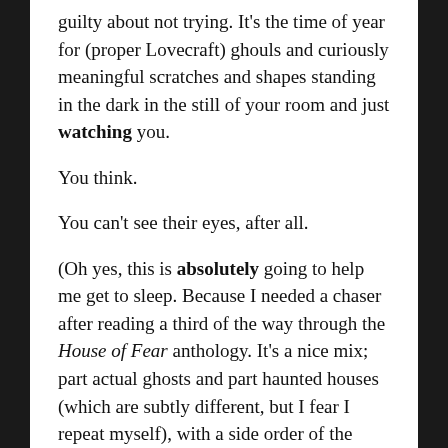guilty about not trying. It’s the time of year for (proper Lovecraft) ghouls and curiously meaningful scratches and shapes standing in the dark in the still of your room and just watching you.
You think.
You can’t see their eyes, after all.
(Oh yes, this is absolutely going to help me get to sleep. Because I needed a chaser after reading a third of the way through the House of Fear anthology. It’s a nice mix; part actual ghosts and part haunted houses (which are subtly different, but I fear I repeat myself), with a side order of the weird.)
Beginning to get sleepy, at least.  The nice thing